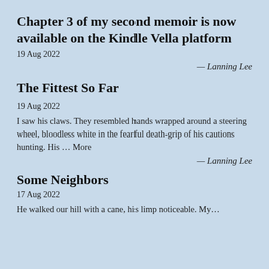Chapter 3 of my second memoir is now available on the Kindle Vella platform
19 Aug 2022
— Lanning Lee
The Fittest So Far
19 Aug 2022
I saw his claws. They resembled hands wrapped around a steering wheel, bloodless white in the fearful death-grip of his cautions hunting. His … More
— Lanning Lee
Some Neighbors
17 Aug 2022
He walked our hill with a cane, his limp noticeable. My…